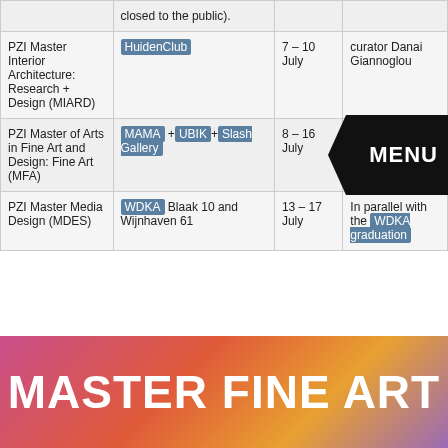| Programme | Venue | Dates | Notes |
| --- | --- | --- | --- |
|  | closed to the public). |  |  |
| PZI Master Interior Architecture: Research + Design (MIARD) | HuidenClub | 7 – 10 July | curator Danai Giannoglou |
| PZI Master of Arts in Fine Art and Design: Fine Art (MFA) | MAMA + UBIK + Slash Gallery | 8 – 16 July |  |
| PZI Master Media Design (MDES) | WDKA Blaak 10 and Wijnhaven 61 | 13 – 17 July | In parallel with the WDKA graduation |
MASTER FINE ART